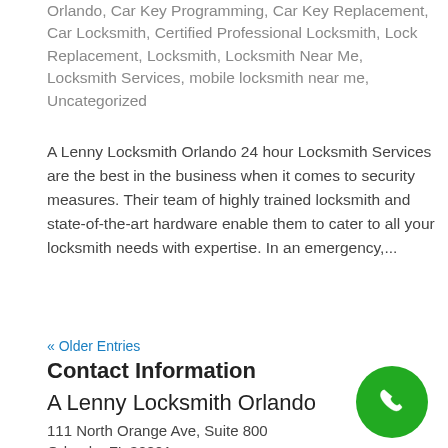Orlando, Car Key Programming, Car Key Replacement, Car Locksmith, Certified Professional Locksmith, Lock Replacement, Locksmith, Locksmith Near Me, Locksmith Services, mobile locksmith near me, Uncategorized
A Lenny Locksmith Orlando 24 hour Locksmith Services are the best in the business when it comes to security measures. Their team of highly trained locksmith and state-of-the-art hardware enable them to cater to all your locksmith needs with expertise. In an emergency,...
« Older Entries
Contact Information
A Lenny Locksmith Orlando
111 North Orange Ave, Suite 800
Orlando, FL 32801